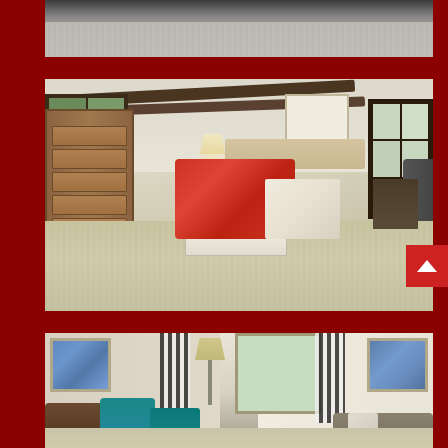[Figure (photo): Partial view of a room with carpet flooring, showing the bottom portion of the space with a light gray/beige textured carpet and dark equipment or furniture partially visible at top]
[Figure (photo): Bedroom interior with beamed ceiling, large windows, wooden dresser on left, bed with bright coral/red comforter and white striped bedding, two lamps, framed artwork on wall, and light beige carpet flooring]
[Figure (photo): Living room interior with bold black and white patterned curtains, framed blue artwork on walls, teal/turquoise chairs, brown leather sofa, floor lamp, and light beige carpet]